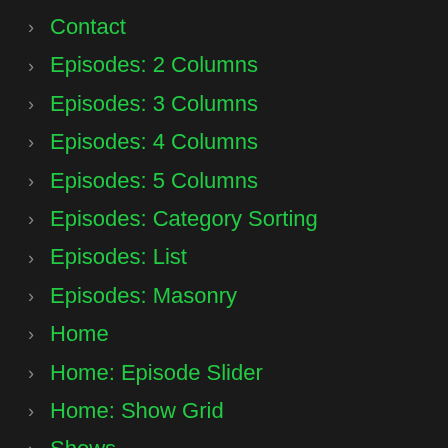Contact
Episodes: 2 Columns
Episodes: 3 Columns
Episodes: 4 Columns
Episodes: 5 Columns
Episodes: Category Sorting
Episodes: List
Episodes: Masonry
Home
Home: Episode Slider
Home: Show Grid
Shows
Shows: Carousel